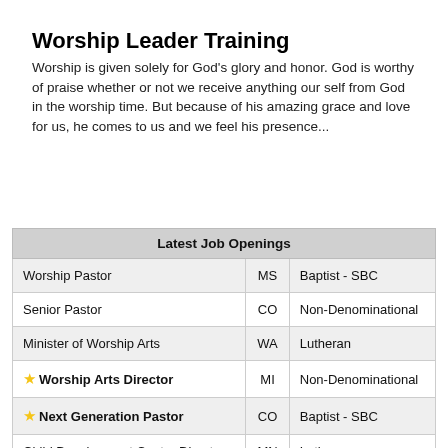Worship Leader Training
Worship is given solely for God's glory and honor. God is worthy of praise whether or not we receive anything our self from God in the worship time. But because of his amazing grace and love for us, he comes to us and we feel his presence...
| Latest Job Openings |  |  |
| --- | --- | --- |
| Worship Pastor | MS | Baptist - SBC |
| Senior Pastor | CO | Non-Denominational |
| Minister of Worship Arts | WA | Lutheran |
| ★ Worship Arts Director | MI | Non-Denominational |
| ★ Next Generation Pastor | CO | Baptist - SBC |
| Child Development Center Director | MN | Lutheran |
| Family Pastor | IL | Baptist - American |